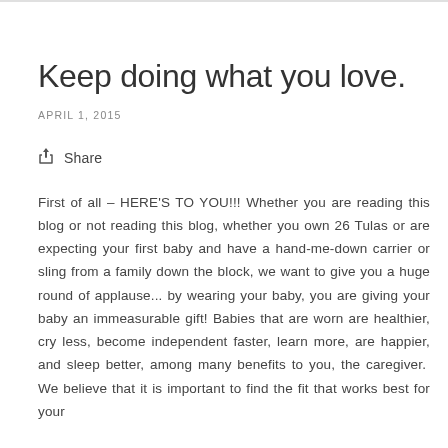Keep doing what you love.
APRIL 1, 2015
Share
First of all – HERE'S TO YOU!!! Whether you are reading this blog or not reading this blog, whether you own 26 Tulas or are expecting your first baby and have a hand-me-down carrier or sling from a family down the block, we want to give you a huge round of applause... by wearing your baby, you are giving your baby an immeasurable gift! Babies that are worn are healthier, cry less, become independent faster, learn more, are happier, and sleep better, among many benefits to you, the caregiver.  We believe that it is important to find the fit that works best for your